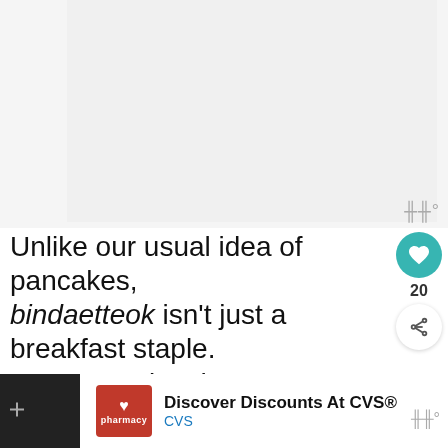[Figure (photo): Partial image area at top of page, mostly white/grey placeholder with small image thumbnail visible at top-left corner]
Unlike our usual idea of pancakes, bindaetteok isn't just a breakfast staple. You can enjoy these tasty snacks any time of day—or even as a meal on its own in a
[Figure (infographic): WHAT'S NEXT overlay: circular thumbnail image and text 'Best Hotels in Itaewon...']
[Figure (screenshot): Advertisement bar at bottom: CVS Pharmacy ad reading 'Discover Discounts At CVS® CVS']